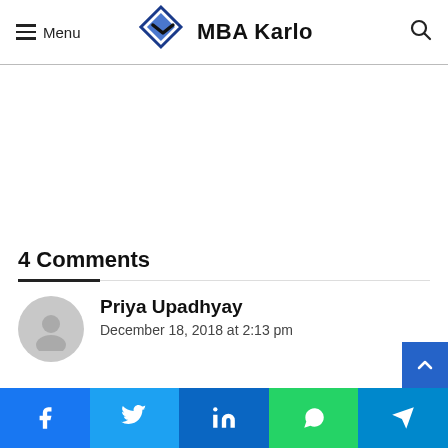Menu | MBA Karlo
[Figure (logo): MBA Karlo logo with blue diamond and arrow icon]
4 Comments
Priya Upadhyay
December 18, 2018 at 2:13 pm